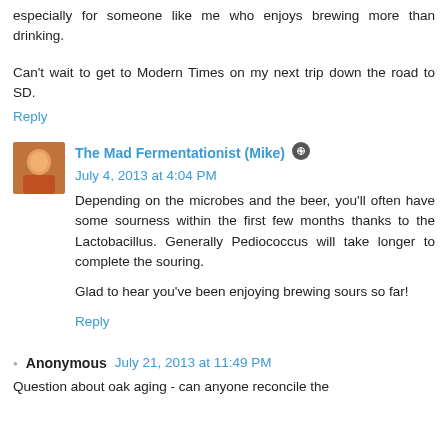especially for someone like me who enjoys brewing more than drinking.
Can't wait to get to Modern Times on my next trip down the road to SD.
Reply
The Mad Fermentationist (Mike)  July 4, 2013 at 4:04 PM
Depending on the microbes and the beer, you'll often have some sourness within the first few months thanks to the Lactobacillus. Generally Pediococcus will take longer to complete the souring.
Glad to hear you've been enjoying brewing sours so far!
Reply
Anonymous  July 21, 2013 at 11:49 PM
Question about oak aging - can anyone reconcile the